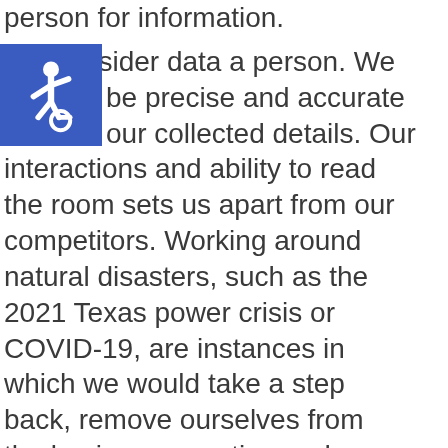person for information.
[Figure (illustration): Blue square accessibility icon showing a wheelchair user symbol in white]
We consider data a person. We be precise and accurate about our collected details. Our interactions and ability to read the room sets us apart from our competitors. Working around natural disasters, such as the 2021 Texas power crisis or COVID-19, are instances in which we would take a step back, remove ourselves from the business equation and remember that these are individuals dealing with hardship. Contacting them for